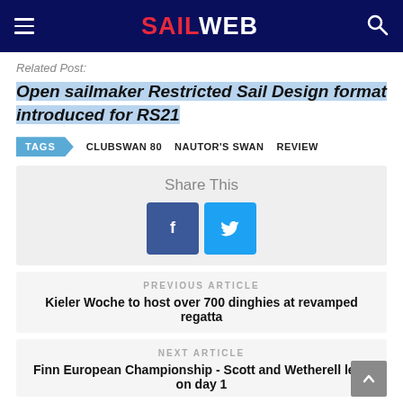SAILWEB
Related Post:
Open sailmaker Restricted Sail Design format introduced for RS21
TAGS  CLUBSWAN 80  NAUTOR'S SWAN  REVIEW
Share This
PREVIOUS ARTICLE
Kieler Woche to host over 700 dinghies at revamped regatta
NEXT ARTICLE
Finn European Championship - Scott and Wetherell lead on day 1